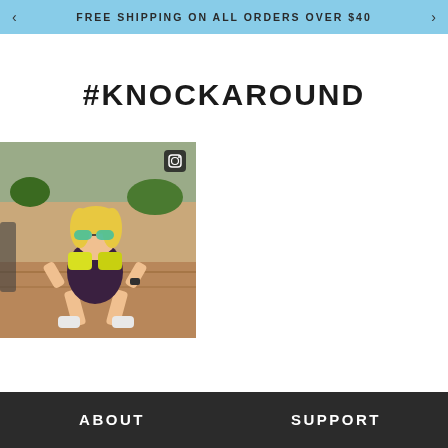FREE SHIPPING ON ALL ORDERS OVER $40
#KNOCKAROUND
[Figure (photo): Woman in sunglasses doing a squat pose outdoors, holding two yellow objects (sunglasses cases) up near her face, wearing a dark workout outfit and white sneakers. Instagram icon visible in top right corner of photo.]
ABOUT
SUPPORT